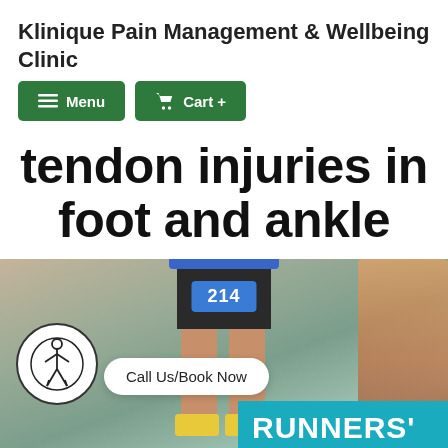Klinique Pain Management & Wellbeing Clinic
Menu
Cart +
tendon injuries in foot and ankle
[Figure (photo): A runner wearing bib number 214 mid-race, with a circular logo overlay showing a human figure, a 'Call Us/Book Now' button, and a teal banner reading RUNNERS' at the bottom right.]